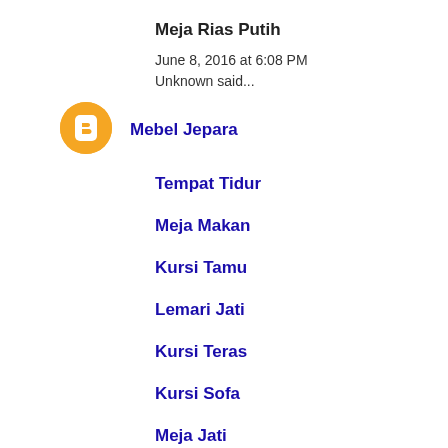Meja Rias Putih
June 8, 2016 at 6:08 PM
Unknown said...
[Figure (logo): Orange circular Blogger avatar/icon with a white 'B' letter in the center]
Mebel Jepara
Tempat Tidur
Meja Makan
Kursi Tamu
Lemari Jati
Kursi Teras
Kursi Sofa
Meja Jati
Bufet Pajangan
Bufet T...